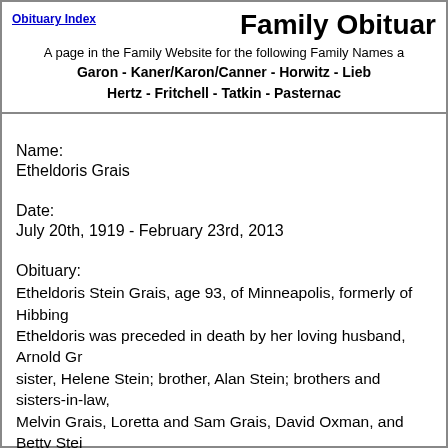Obituary Index | Family Obituar... A page in the Family Website for the following Family Names a... Garon - Kaner/Karon/Canner - Horwitz - Lieb... Hertz - Fritchell - Tatkin - Pasternac...
Name:
Etheldoris Grais
Date:
July 20th, 1919 - February 23rd, 2013
Obituary:
Etheldoris Stein Grais, age 93, of Minneapolis, formerly of Hibbing... Etheldoris was preceded in death by her loving husband, Arnold Gr... sister, Helene Stein; brother, Alan Stein; brothers and sisters-in-law, Melvin Grais, Loretta and Sam Grais, David Oxman, and Betty Stei... Grais; grandchildren, Jason (Jacy) Grais and Tammi (Elliot) Lazaru... and Alexandra Grais and Micah Lazarus; sisters, Tessy Oxman and... nephews, cousins, and friends. Etheldoris was enthusiastic about lif... and spending time with her beloved family. Funeral services TIES...